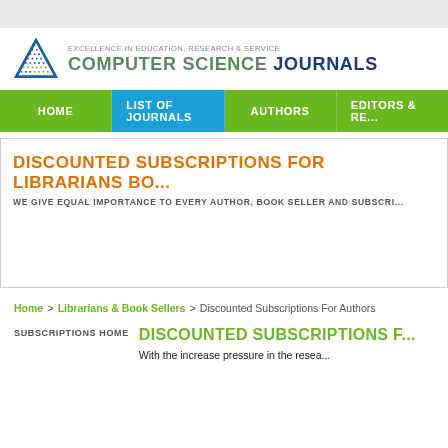[Figure (logo): Computer Science Journals logo with triangle icon and tagline 'Excellence in Education, Research & Service']
HOME | LIST OF JOURNALS | AUTHORS | EDITORS & RE...
[Figure (infographic): Banner: 'DISCOUNTED SUBSCRIPTIONS FOR LIBRARIANS BO...' and 'WE GIVE EQUAL IMPORTANCE TO EVERY AUTHOR, BOOK SELLER AND SUBSCRI...']
Home > Librarians & Book Sellers > Discounted Subscriptions For Authors
SUBSCRIPTIONS HOME
DISCOUNTED SUBSCRIPTIONS F...
With the increase pressure in the resea...